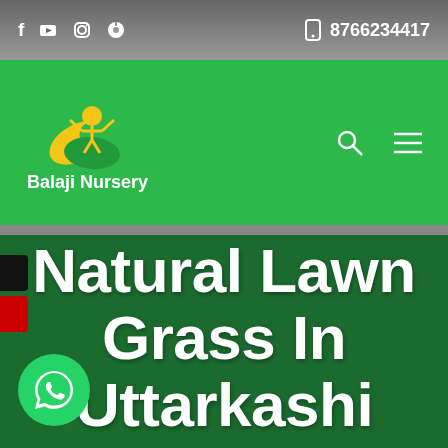f  ▶  ⊙  ℗    8766234417
[Figure (logo): Balaji Nursery logo: yellow/green leaf and person figure above text 'Balaji Nursery' in white on green background]
Natural Lawn Grass In Uttarkashi